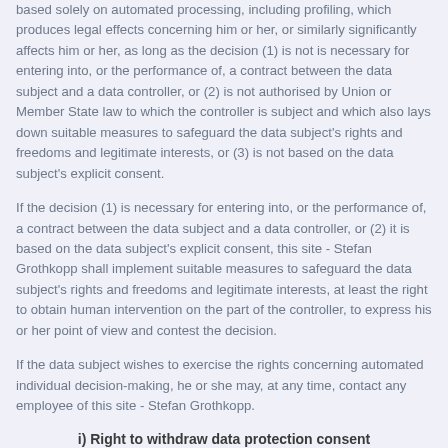based solely on automated processing, including profiling, which produces legal effects concerning him or her, or similarly significantly affects him or her, as long as the decision (1) is not is necessary for entering into, or the performance of, a contract between the data subject and a data controller, or (2) is not authorised by Union or Member State law to which the controller is subject and which also lays down suitable measures to safeguard the data subject's rights and freedoms and legitimate interests, or (3) is not based on the data subject's explicit consent.
If the decision (1) is necessary for entering into, or the performance of, a contract between the data subject and a data controller, or (2) it is based on the data subject's explicit consent, this site - Stefan Grothkopp shall implement suitable measures to safeguard the data subject's rights and freedoms and legitimate interests, at least the right to obtain human intervention on the part of the controller, to express his or her point of view and contest the decision.
If the data subject wishes to exercise the rights concerning automated individual decision-making, he or she may, at any time, contact any employee of this site - Stefan Grothkopp.
i) Right to withdraw data protection consent